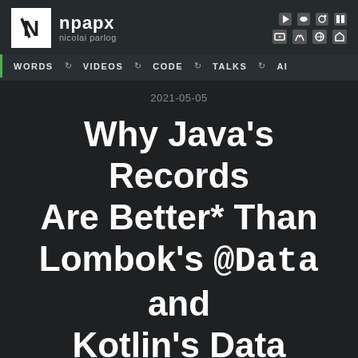npарх — nicolai parlog
WORDS ↺ VIDEOS ↺ CODE ↺ TALKS ↺ AI
2021-05-05
Why Java's Records Are Better* Than Lombok's @Data and Kotlin's Data Classes